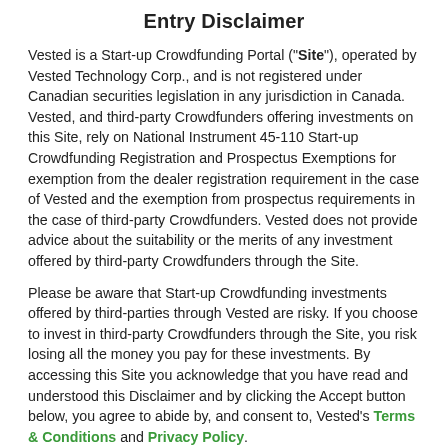Entry Disclaimer
Vested is a Start-up Crowdfunding Portal ("Site"), operated by Vested Technology Corp., and is not registered under Canadian securities legislation in any jurisdiction in Canada. Vested, and third-party Crowdfunders offering investments on this Site, rely on National Instrument 45-110 Start-up Crowdfunding Registration and Prospectus Exemptions for exemption from the dealer registration requirement in the case of Vested and the exemption from prospectus requirements in the case of third-party Crowdfunders. Vested does not provide advice about the suitability or the merits of any investment offered by third-party Crowdfunders through the Site.
Please be aware that Start-up Crowdfunding investments offered by third-parties through Vested are risky. If you choose to invest in third-party Crowdfunders through the Site, you risk losing all the money you pay for these investments. By accessing this Site you acknowledge that you have read and understood this Disclaimer and by clicking the Accept button below, you agree to abide by, and consent to, Vested's Terms & Conditions and Privacy Policy.
If you participate in any investment offered by a third-party